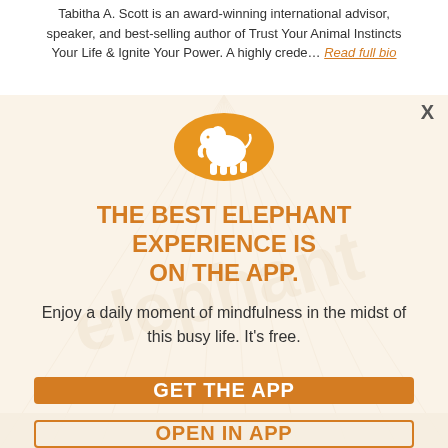Tabitha A. Scott is an award-winning international advisor, speaker, and best-selling author of Trust Your Animal Instincts Your Life & Ignite Your Power. A highly crede… Read full bio
[Figure (logo): Elephant Journal app logo: white elephant silhouette on orange circle]
THE BEST ELEPHANT EXPERIENCE IS ON THE APP.
Enjoy a daily moment of mindfulness in the midst of this busy life. It's free.
GET THE APP
OPEN IN APP